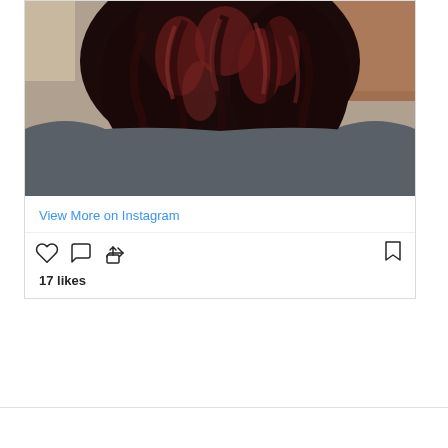[Figure (photo): Close-up photo of a person with dark curly hair with reddish/auburn highlights, wearing a grey top. Viewed from behind/side. Brick wall visible in background.]
View More on Instagram
[Figure (infographic): Instagram action icons: heart (like), comment bubble, share/upload arrow (left side), and bookmark (right side)]
17 likes